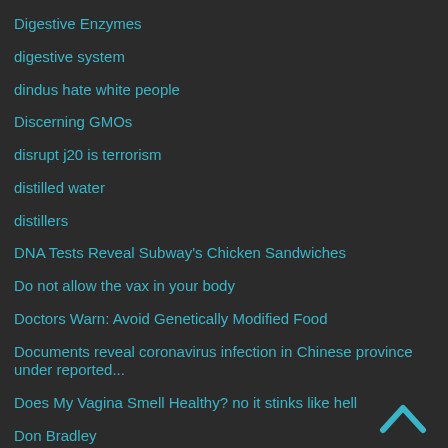Digestive Enzymes
digestive system
dindus hate white people
Discerning GMOs
disrupt j20 is terrorism
distilled water
distillers
DNA Tests Reveal Subway's Chicken Sandwiches
Do not allow the vax in your body
Doctors Warn: Avoid Genetically Modified Food
Documents reveal coronavirus infection in Chinese province under reported...
Does My Vagina Smell Healthy? no it stinks like hell
Don Bradley
Don's Homemade Bisquits